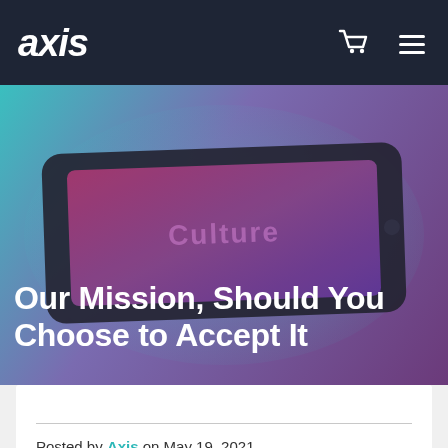axis
[Figure (screenshot): Hero banner showing a smartphone displaying 'Culture' text over a purple-pink gradient background with teal/blue outer glow]
Our Mission, Should You Choose to Accept It
Posted by Axis on May 19, 2021